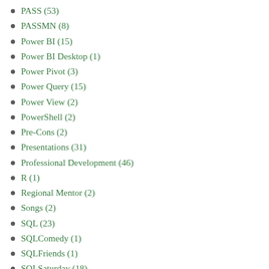PASS (53)
PASSMN (8)
Power BI (15)
Power BI Desktop (1)
Power Pivot (3)
Power Query (15)
Power View (2)
PowerShell (2)
Pre-Cons (2)
Presentations (31)
Professional Development (46)
R (1)
Regional Mentor (2)
Songs (2)
SQL (23)
SQLComedy (1)
SQLFriends (1)
SQLSaturday (18)
SQLSongs (1)
SSAS (9)
SSIS (7)
SSRS (11)
Summit (6)
Survey (1)
T-SQL (10)
Tabular (4)
XML (2)